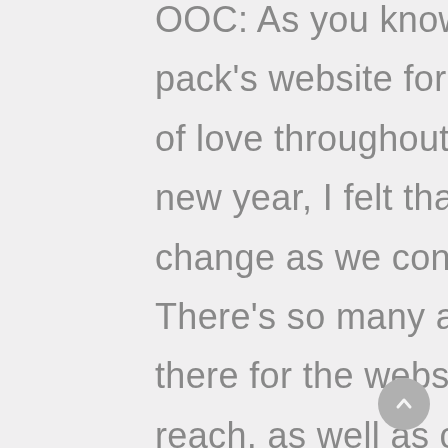OOC: As you know I have been working on the pack's website for sometime. It's been a labor of love throughout all these years and with a new year, I felt that it was time for some change as we continue to evolve and grow. There's so many amazing opportunities out there for the website and a community out reach, as well as customization things for the pack to experience and have. There are some features that are still being worked out and I am sad that it isn't done yet for this unveil but! It will be really nice! You will all be able to login to the website and edit your own profiles, send messages to other packmembers, etc. So without further adue! The website is now LIVE! www.wolfspirits.org There are some pages I am still migrating over because, well, it's going to take a while! Especially the pack history page but I will be getting the history from 2001 – current up